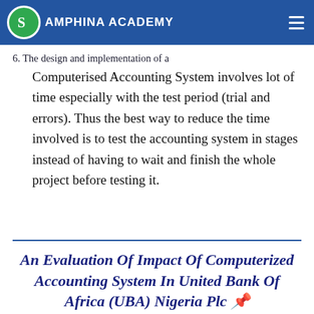Amphina Academy
6. The design and implementation of a Computerised Accounting System involves lot of time especially with the test period (trial and errors). Thus the best way to reduce the time involved is to test the accounting system in stages instead of having to wait and finish the whole project before testing it.
An Evaluation Of Impact Of Computerized Accounting System In United Bank Of Africa (UBA) Nigeria Plc